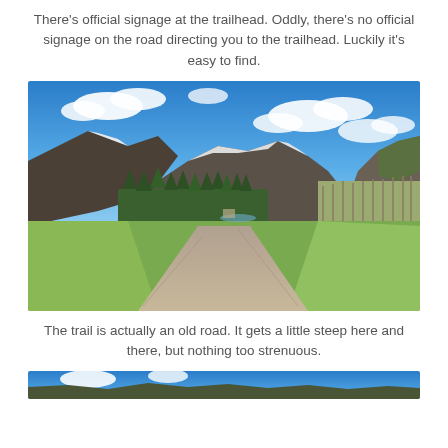There's official signage at the trailhead. Oddly, there's no official signage on the road directing you to the trailhead. Luckily it's easy to find.
[Figure (photo): Mountain valley landscape with a dirt road/trail leading through green meadows and sparse trees toward snow-capped mountains under a bright blue sky with white clouds.]
The trail is actually an old road. It gets a little steep here and there, but nothing too strenuous.
[Figure (photo): Partial view of another mountain/sky photo at the bottom of the page, cropped.]